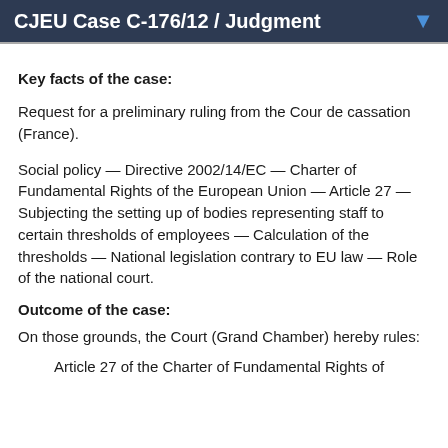CJEU Case C-176/12 / Judgment
Key facts of the case:
Request for a preliminary ruling from the Cour de cassation (France).
Social policy — Directive 2002/14/EC — Charter of Fundamental Rights of the European Union — Article 27 — Subjecting the setting up of bodies representing staff to certain thresholds of employees — Calculation of the thresholds — National legislation contrary to EU law — Role of the national court.
Outcome of the case:
On those grounds, the Court (Grand Chamber) hereby rules:
Article 27 of the Charter of Fundamental Rights of